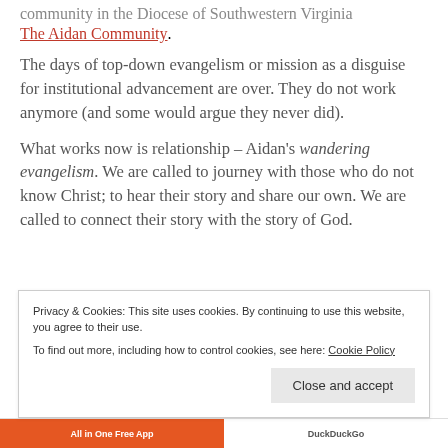community in the Diocese of Southwestern Virginia The Aidan Community.
The days of top-down evangelism or mission as a disguise for institutional advancement are over. They do not work anymore (and some would argue they never did).
What works now is relationship – Aidan's wandering evangelism. We are called to journey with those who do not know Christ; to hear their story and share our own. We are called to connect their story with the story of God.
Privacy & Cookies: This site uses cookies. By continuing to use this website, you agree to their use.
To find out more, including how to control cookies, see here: Cookie Policy
Close and accept
All in One Free App
DuckDuckGo